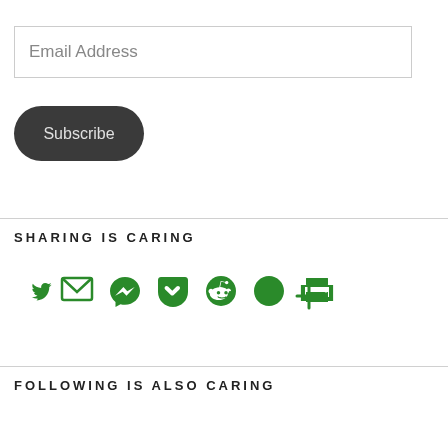Email Address
Subscribe
SHARING IS CARING
[Figure (illustration): Row of social sharing icons in green: Twitter bird, envelope/email, Messenger, Pocket, Reddit alien, Telegram paper plane, printer, and plus sign]
FOLLOWING IS ALSO CARING